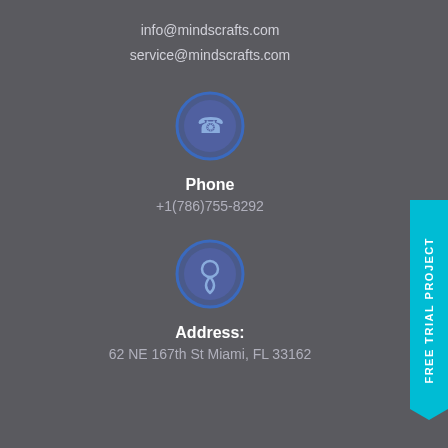info@mindscrafts.com
service@mindscrafts.com
[Figure (illustration): Blue circle icon with phone symbol]
Phone
+1(786)755-8292
[Figure (illustration): Blue circle icon with location/address symbol]
Address:
62 NE 167th St Miami, FL 33162